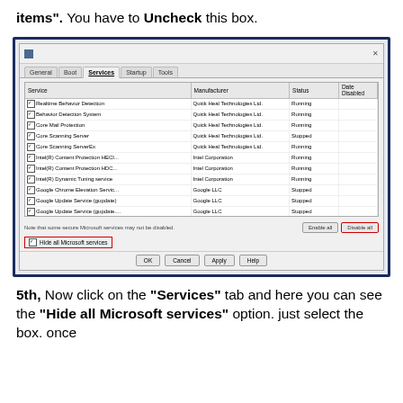items". You have to Uncheck this box.
[Figure (screenshot): Windows System Configuration dialog showing Services tab with a list of services (Realtime Behavior Detection, Behavior Detection System, Core Mail Protection, Core Scanning Server, Core Scanning ServerEx, Intel(R) Content Protection HECI..., Intel(R) Content Protection HDC..., Intel(R) Dynamic Tuning service, Google Chrome Elevation Servic..., Google Update Service (gupdate), Google Update Service (gupdate...., HP App Helper HSA Service, HP Network HSA Service). Each has a checkbox checked. Manufacturers include Quick Heal Technologies Ltd., Intel Corporation, Google LLC, HP Inc. Status column shows Running or Stopped. Bottom has 'Hide all Microsoft services' checkbox highlighted in red, and 'Disable all' button highlighted in red.]
5th, Now click on the "Services" tab and here you can see the "Hide all Microsoft services" option. just select the box. once